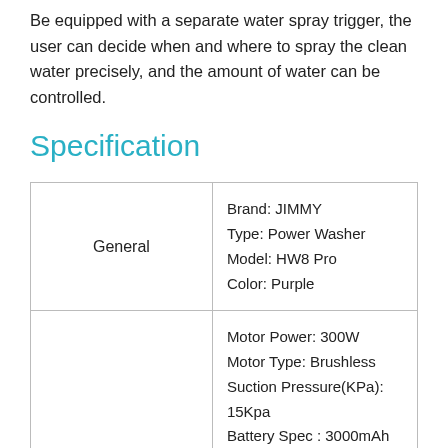Be equipped with a separate water spray trigger, the user can decide when and where to spray the clean water precisely, and the amount of water can be controlled.
Specification
|  |  |
| --- | --- |
| General | Brand: JIMMY
Type: Power Washer
Model: HW8 Pro
Color: Purple |
|  | Motor Power: 300W
Motor Type: Brushless
Suction Pressure(KPa): 15Kpa
Battery Spec : 3000mAh
Voltage: 28.8V
Working Time: 35mins for |